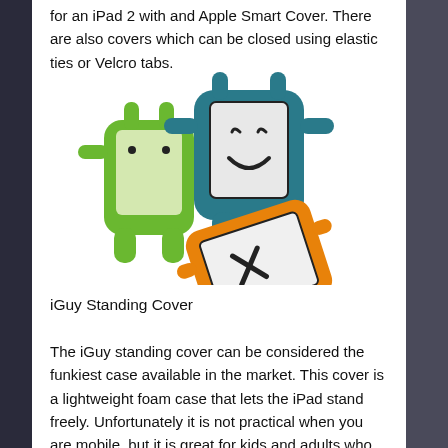for an iPad 2 with and Apple Smart Cover. There are also covers which can be closed using elastic ties or Velcro tabs.
[Figure (photo): Three colorful iGuy foam iPad cases in green, teal/blue, and orange, shaped like cartoon characters with arms and faces.]
iGuy Standing Cover
The iGuy standing cover can be considered the funkiest case available in the market. This cover is a lightweight foam case that lets the iPad stand freely. Unfortunately it is not practical when you are mobile, but it is great for kids and adults who prefer cute things too. The iGuy is available in